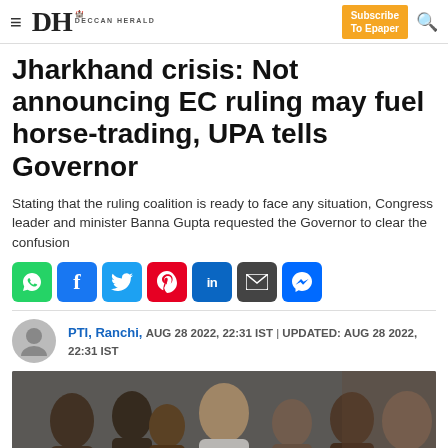DH Deccan Herald — Subscribe To Epaper
Jharkhand crisis: Not announcing EC ruling may fuel horse-trading, UPA tells Governor
Stating that the ruling coalition is ready to face any situation, Congress leader and minister Banna Gupta requested the Governor to clear the confusion
[Figure (infographic): Social media sharing icons: WhatsApp, Facebook, Twitter, Pinterest, LinkedIn, Email, Messenger]
PTI, Ranchi, AUG 28 2022, 22:31 IST | UPDATED: AUG 28 2022, 22:31 IST
[Figure (photo): Group of politicians and people gathered in a room, likely at a press conference or meeting]